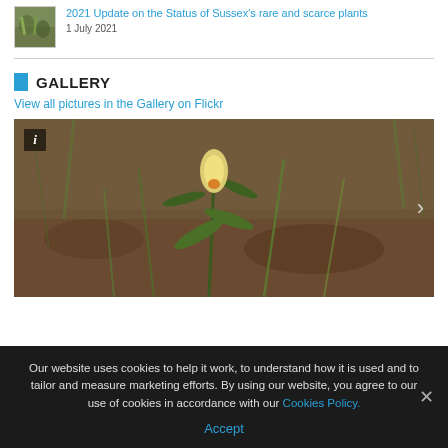[Figure (photo): Thumbnail image of Sussex rare plants - green plants/foliage]
2021 Update on the Status of Sussex's rare and scarce plants
1 July 2021
GALLERY
View all pictures in the Gallery on Flickr
[Figure (photo): Close-up photograph of a small yellow flower with green leaves and grass stems on a brown earthy background]
Our website uses cookies to help it work, to understand how it is used and to tailor and measure marketing efforts. By using our website, you agree to our use of cookies in accordance with our Cookies Policy.
Accept